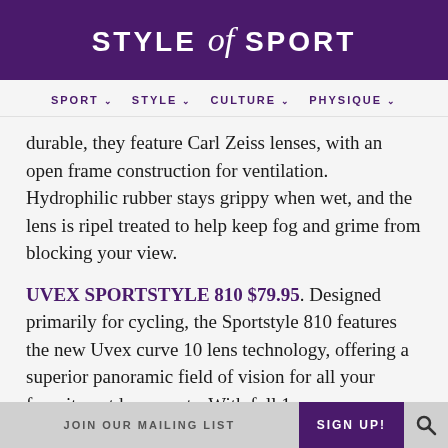STYLE of SPORT
SPORT ∨   STYLE ∨   CULTURE ∨   PHYSIQUE ∨
durable, they feature Carl Zeiss lenses, with an open frame construction for ventilation. Hydrophilic rubber stays grippy when wet, and the lens is ripel treated to help keep fog and grime from blocking your view.
UVEX SPORTSTYLE 810 $79.95. Designed primarily for cycling, the Sportstyle 810 features the new Uvex curve 10 lens technology, offering a superior panoramic field of vision for all your favorite outdoor sports. With full 1cm more curvature, compared to standard flat lenses, the design offers greater coverage and protection. Ventilation openings at the
JOIN OUR MAILING LIST   SIGN UP!